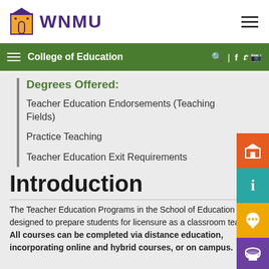WNMU
College of Education
Degrees Offered:
Teacher Education Endorsements (Teaching Fields)
Practice Teaching
Teacher Education Exit Requirements
Introduction
The Teacher Education Programs in the School of Education are designed to prepare students for licensure as a classroom teacher. All courses can be completed via distance education, incorporating online and hybrid courses, or on campus.